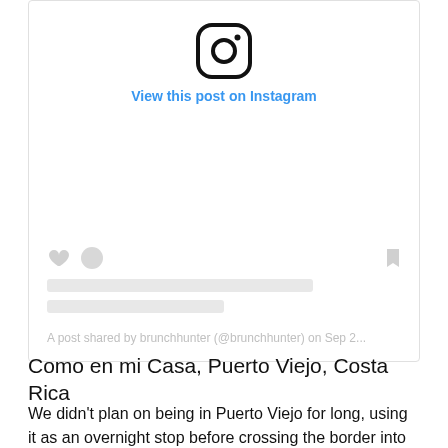[Figure (screenshot): Instagram embed placeholder showing the Instagram logo, a 'View this post on Instagram' link in blue, placeholder content area with greyed-out action icons (heart, comment bubble, bookmark), skeleton loading lines, and a footer attribution reading 'A post shared by brunchhunter (@brunchhunter) on Sep 2...']
Como en mi Casa, Puerto Viejo, Costa Rica
We didn't plan on being in Puerto Viejo for long, using it as an overnight stop before crossing the border into Panama